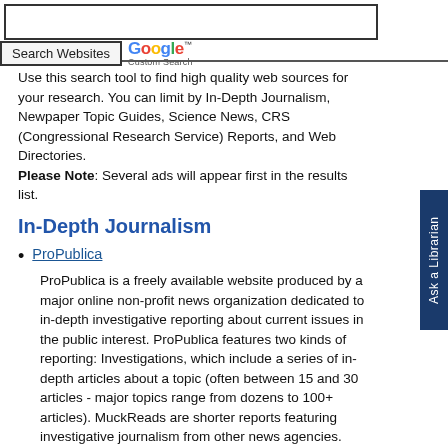[Figure (screenshot): Search Websites button with Google Custom Search logo]
Use this search tool to find high quality web sources for your research. You can limit by In-Depth Journalism, Newpaper Topic Guides, Science News, CRS (Congressional Research Service) Reports, and Web Directories. Please Note: Several ads will appear first in the results list.
In-Depth Journalism
ProPublica
ProPublica is a freely available website produced by a major online non-profit news organization dedicated to in-depth investigative reporting about current issues in the public interest. ProPublica features two kinds of reporting: Investigations, which include a series of in-depth articles about a topic (often between 15 and 30 articles - major topics range from dozens to 100+ articles). MuckReads are shorter reports featuring investigative journalism from other news agencies. Major areas of interest include, among others: healthcare and the health industry, fracking, censorship, money and politics, and financial and economic issues.